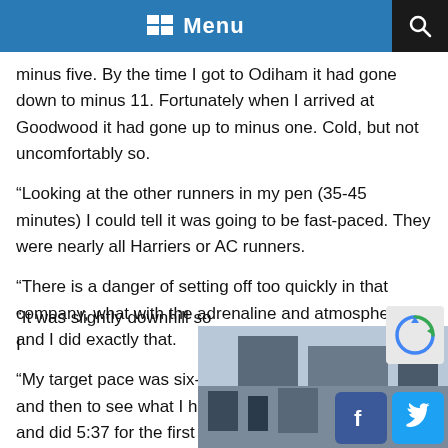Menu
minus five. By the time I got to Odiham it had gone down to minus 11. Fortunately when I arrived at Goodwood it had gone up to minus one. Cold, but not uncomfortably so.
“Looking at the other runners in my pen (35-45 minutes) I could tell it was going to be fast-paced. They were nearly all Harriers or AC runners.
“There is a danger of setting off too quickly in that company, what with the adrenaline and atmosphere, and I did exactly that.
“My target pace was six-minute miles for the first half and then to see what I had left. But I shot off at the gun and did 5:37 for the first mile.
“It was slightly downhill so I
[Figure (photo): Partial street/building photo visible at bottom right, partially obscured by social media buttons]